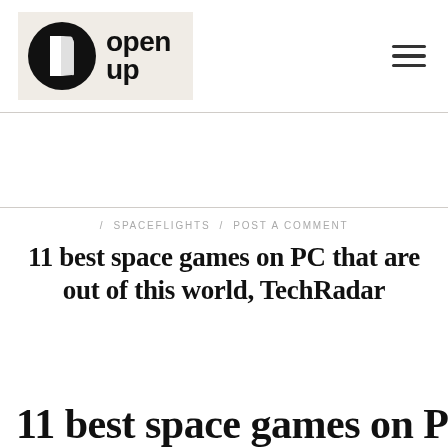[Figure (logo): Open Up logo: black circle with white book/page icon, followed by bold text 'open up' on beige/tan background]
/ SPACEFLIGHTS / POST A COMMENT
11 best space games on PC that are out of this world, TechRadar
11 best space games on PC